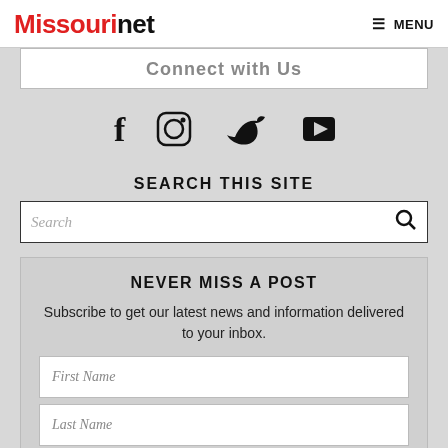Missourinet MENU
Connect with Us
[Figure (infographic): Social media icons: Facebook, Instagram, Twitter, YouTube]
SEARCH THIS SITE
Search
NEVER MISS A POST
Subscribe to get our latest news and information delivered to your inbox.
First Name
Last Name